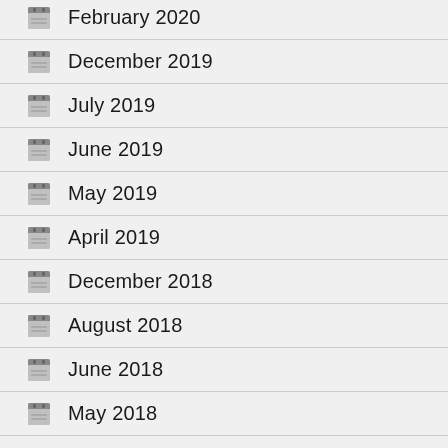February 2020
December 2019
July 2019
June 2019
May 2019
April 2019
December 2018
August 2018
June 2018
May 2018